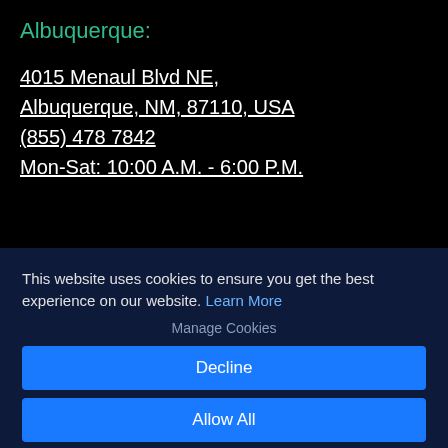Albuquerque:
4015 Menaul Blvd NE,
Albuquerque, NM, 87110, USA
(855) 478 7842
Mon-Sat: 10:00 A.M. - 6:00 P.M.
This website uses cookies to ensure you get the best experience on our website. Learn More
Manage Cookies
Decline
Allow All
×